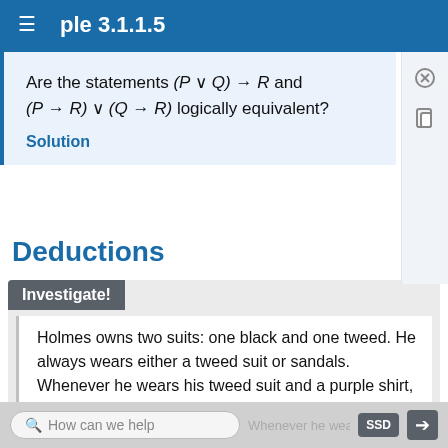Example 3.1.1.5
Are the statements (P ∨ Q) → R and (P → R) ∨ (Q → R) logically equivalent?
Solution
Deductions
Investigate!
Holmes owns two suits: one black and one tweed. He always wears either a tweed suit or sandals. Whenever he wears his tweed suit and a purple shirt, he chooses to not wear a tie. He never wears the tweed suit unless he is also wearing either a
How can we help